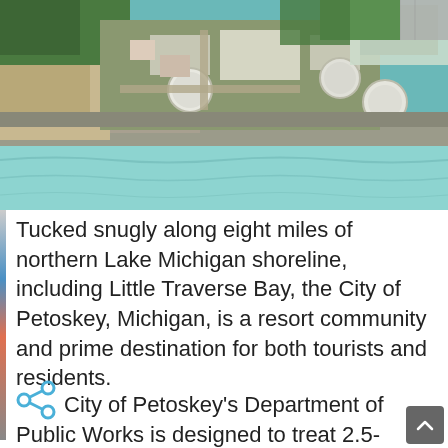[Figure (photo): Aerial photograph of the City of Petoskey, Michigan, showing a wastewater treatment facility along the northern Lake Michigan shoreline with Little Traverse Bay, rocky beach, green trees, and facility infrastructure visible from above.]
Tucked snugly along eight miles of northern Lake Michigan shoreline, including Little Traverse Bay, the City of Petoskey, Michigan, is a resort community and prime destination for both tourists and residents.
The City of Petoskey's Department of Public Works is designed to treat 2.5-million-gallons of wastewater daily. Situated near the coastline,